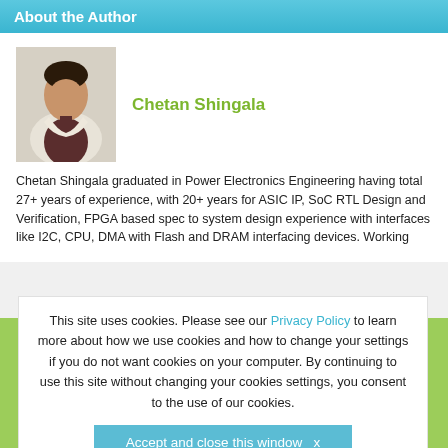About the Author
[Figure (photo): Author headshot photo of Chetan Shingala]
Chetan Shingala
Chetan Shingala graduated in Power Electronics Engineering having total 27+ years of experience, with 20+ years for ASIC IP, SoC RTL Design and Verification, FPGA based spec to system design experience with interfaces like I2C, CPU, DMA with Flash and DRAM interfacing devices. Working with Cadence Design System as Software Engineering Director, leading VIP team and Cadence Ahmedabad site since 2016, contributed to grow a strength from 30 engineers to 60+ engineers team.
This site uses cookies. Please see our Privacy Policy to learn more about how we use cookies and how to change your settings if you do not want cookies on your computer. By continuing to use this site without changing your cookies settings, you consent to the use of our cookies.
Accept and close this window  x